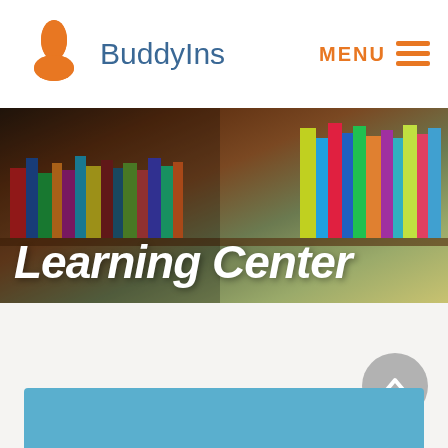BuddyIns
[Figure (screenshot): BuddyIns website Learning Center page header with orange flower logo, site name BuddyIns in blue, MENU navigation in orange, followed by a hero banner showing a library bookshelf background with 'Learning Center' text overlay, and a blue card section at the bottom]
Learning Center